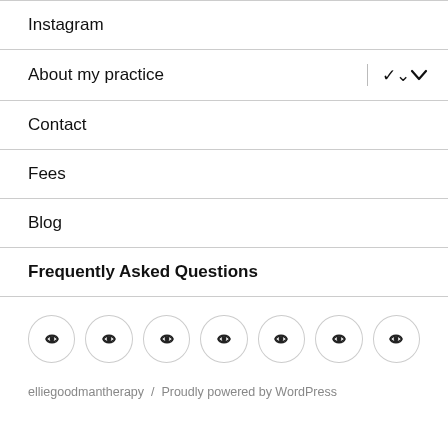Instagram
About my practice
Contact
Fees
Blog
Frequently Asked Questions
[Figure (illustration): Row of 7 circular social media icon buttons with an eye/lens icon inside each, outlined circles on white background]
elliegoodmantherapy  /  Proudly powered by WordPress